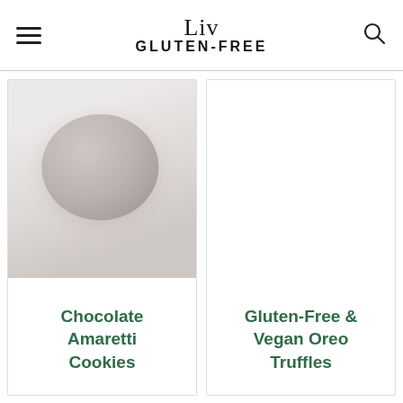Liv GLUTEN-FREE
[Figure (photo): Photo of chocolate amaretti cookies on a light background, appearing as dark round crackled cookies]
Chocolate Amaretti Cookies
[Figure (photo): White/blank image placeholder for Gluten-Free & Vegan Oreo Truffles]
Gluten-Free & Vegan Oreo Truffles